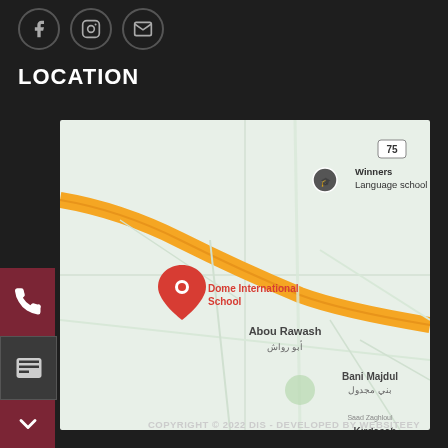[Figure (other): Three circular social media icon buttons (Facebook, Instagram, Email) outlined in gray on dark background]
LOCATION
[Figure (map): Google Maps screenshot showing the area around Abou Rawash, Egypt. A red location pin marks 'Dome International School'. Also visible are labels for 'Winners Language school', 'Bani Majdul', 'Kirdasah', and road number 75.]
[Figure (other): Dark red side button with phone icon]
[Figure (other): Green side button with WhatsApp icon]
[Figure (other): Blue side button with Messenger icon]
[Figure (other): Dark gray contact card icon button]
[Figure (other): Dark red down-arrow button]
COPYRIGHT © 2022 DIS - DEVELOPED BY WEBSITEEY